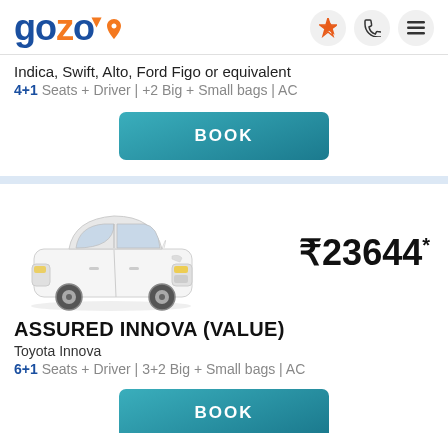gozo (logo with navigation icons)
Indica, Swift, Alto, Ford Figo or equivalent
4+1 Seats + Driver | +2 Big + Small bags | AC
BOOK
[Figure (photo): White Toyota Innova SUV car image]
₹23644*
ASSURED INNOVA (VALUE)
Toyota Innova
6+1 Seats + Driver | 3+2 Big + Small bags | AC
BOOK